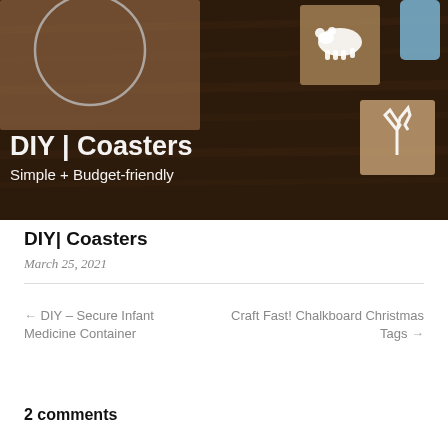[Figure (photo): Overhead photo of wooden DIY coasters on a dark wood surface. White bear and antler silhouettes painted on the coasters. A circular template and a blue glue bottle are visible. Text overlay reads 'DIY | Coasters' and 'Simple + Budget-friendly' in white.]
DIY| Coasters
March 25, 2021
← DIY – Secure Infant Medicine Container
Craft Fast! Chalkboard Christmas Tags →
2 comments